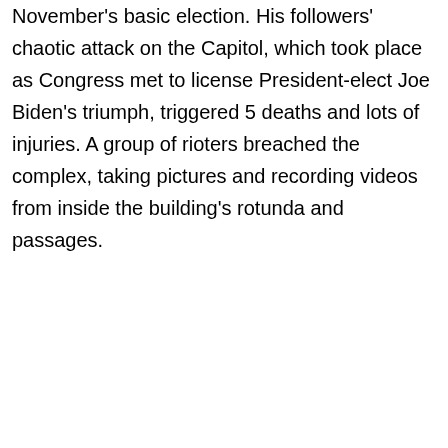November's basic election. His followers' chaotic attack on the Capitol, which took place as Congress met to license President-elect Joe Biden's triumph, triggered 5 deaths and lots of injuries. A group of rioters breached the complex, taking pictures and recording videos from inside the building's rotunda and passages.